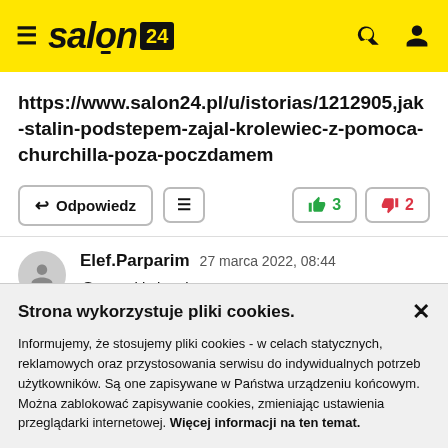salon24
https://www.salon24.pl/u/istorias/1212905,jak-stalin-podstepem-zajal-krolewiec-z-pomoca-churchilla-poza-poczdamem
Odpowiedz  3  2
Elef.Parparim  27 marca 2022, 08:44
@Erevnitis istorias
Strona wykorzystuje pliki cookies.
Informujemy, że stosujemy pliki cookies - w celach statycznych, reklamowych oraz przystosowania serwisu do indywidualnych potrzeb użytkowników. Są one zapisywane w Państwa urządzeniu końcowym. Można zablokować zapisywanie cookies, zmieniając ustawienia przeglądarki internetowej. Więcej informacji na ten temat.